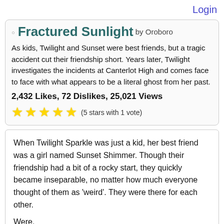Login
Fractured Sunlight by Oroboro
As kids, Twilight and Sunset were best friends, but a tragic accident cut their friendship short. Years later, Twilight investigates the incidents at Canterlot High and comes face to face with what appears to be a literal ghost from her past.
2,432 Likes, 72 Dislikes, 25,021 Views
★★★★★ (5 stars with 1 vote)
When Twilight Sparkle was just a kid, her best friend was a girl named Sunset Shimmer. Though their friendship had a bit of a rocky start, they quickly became inseparable, no matter how much everyone thought of them as 'weird'. They were there for each other.
Were.